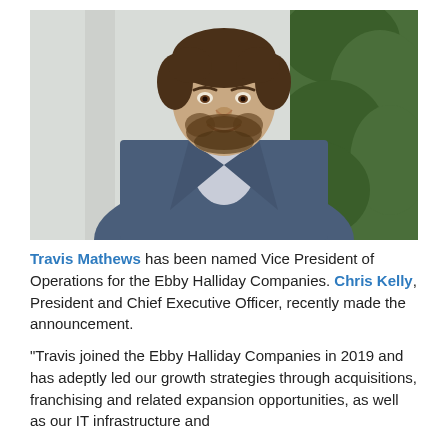[Figure (photo): Professional headshot of Travis Mathews, a young man with a beard wearing a blue suit jacket and light blue shirt, smiling, with a green plant and light wall visible in the background.]
Travis Mathews has been named Vice President of Operations for the Ebby Halliday Companies. Chris Kelly, President and Chief Executive Officer, recently made the announcement.
“Travis joined the Ebby Halliday Companies in 2019 and has adeptly led our growth strategies through acquisitions, franchising and related expansion opportunities, as well as our IT infrastructure and